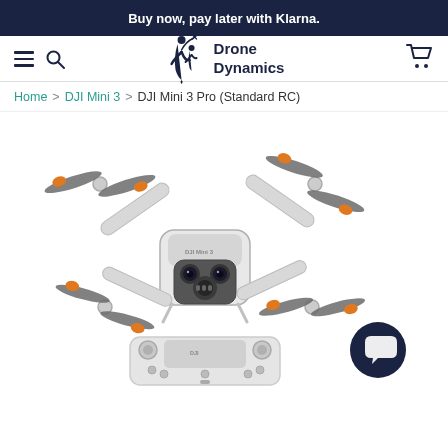Buy now, pay later with Klarna.
[Figure (logo): Drone Dynamics logo with silhouette of person holding child watching a flying drone, and text 'Drone Dynamics']
Home > DJI Mini 3 > DJI Mini 3 Pro (Standard RC)
[Figure (photo): DJI Mini 3 Pro drone shown from above with four propellers extended, white/grey body with orange propeller tips and camera gimbal visible, along with the RC remote controller below it]